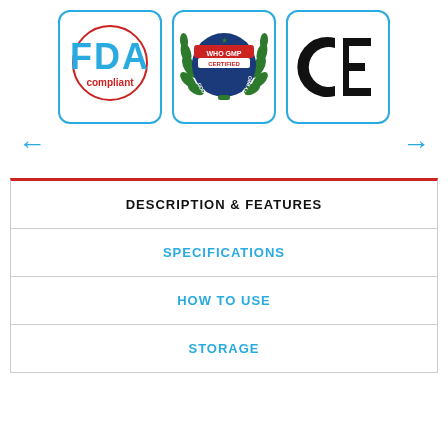[Figure (logo): Three certification badge images in a row: FDA compliant (blue/red circular badge), WHO GMP Certified Good Quality Product (green wreath seal), and CE mark (bold black letters). Blue left and right navigation arrows on either side.]
| DESCRIPTION & FEATURES |
| SPECIFICATIONS |
| HOW TO USE |
| STORAGE |